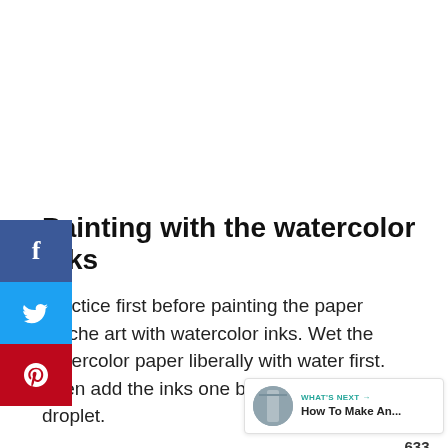Painting with the watercolor inks
Practice first before painting the paper Mache art with watercolor inks. Wet the watercolor paper liberally with water first. Then add the inks one by one using the droplet.